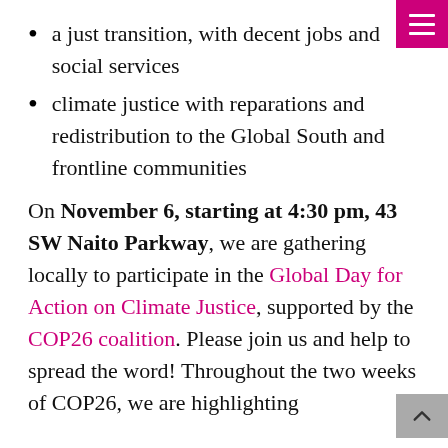a just transition, with decent jobs and social services
climate justice with reparations and redistribution to the Global South and frontline communities
On November 6, starting at 4:30 pm, 43 SW Naito Parkway, we are gathering locally to participate in the Global Day for Action on Climate Justice, supported by the COP26 coalition. Please join us and help to spread the word! Throughout the two weeks of COP26, we are highlighting